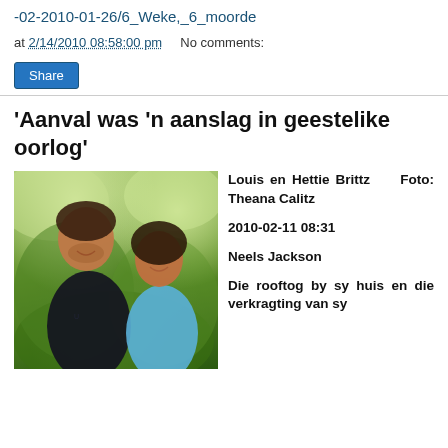-02-2010-01-26/6_Weke,_6_moorde
at 2/14/2010 08:58:00 pm   No comments:
Share
'Aanval was 'n aanslag in geestelike oorlog'
[Figure (photo): Photo of Louis en Hettie Brittz, a couple posing outdoors with green foliage background]
Louis en Hettie Brittz Foto: Theana Calitz
2010-02-11 08:31
Neels Jackson
Die rooftog by sy huis en die verkragting van sy